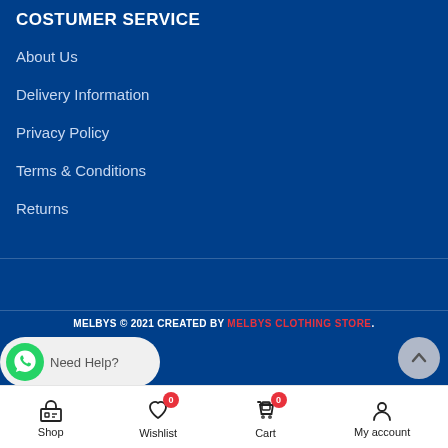COSTUMER SERVICE
About Us
Delivery Information
Privacy Policy
Terms & Conditions
Returns
MELBYS © 2021 CREATED BY MELBYS CLOTHING STORE.
[Figure (screenshot): WhatsApp chat button with green icon and 'Need Help?' text on grey pill background]
[Figure (other): Scroll-to-top circular button with upward chevron arrow]
Shop  Wishlist 0  Cart 0  My account